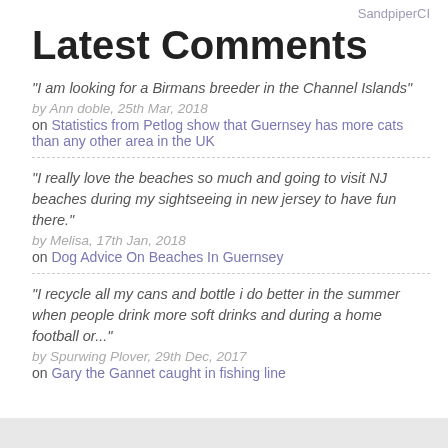SandpiperCI
Latest Comments
"I am looking for a Birmans breeder in the Channel Islands"
by Ann doble, 25th Mar, 2018
on Statistics from Petlog show that Guernsey has more cats than any other area in the UK
"I really love the beaches so much and going to visit NJ beaches during my sightseeing in new jersey to have fun there."
by Melisa, 17th Jan, 2018
on Dog Advice On Beaches In Guernsey
"I recycle all my cans and bottle i do better in the summer when people drink more soft drinks and during a home football or..."
by Spurwing Plover, 29th Dec, 2017
on Gary the Gannet caught in fishing line